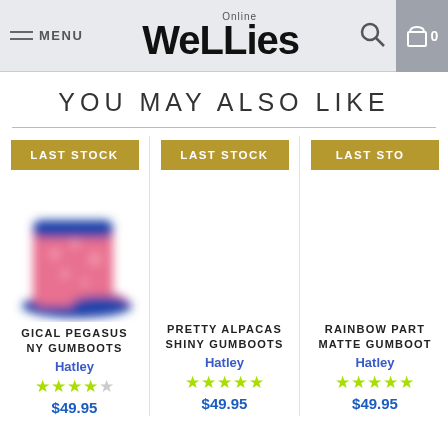MENU | Wellies Online | [search] [cart] 0
YOU MAY ALSO LIKE
MAGICAL PEGASUS SHINY GUMBOOTS | Hatley | ★★★★ | $49.95
PRETTY ALPACAS SHINY GUMBOOTS | Hatley | ★★★★★ | $49.95
RAINBOW PARTY MATTE GUMBOOTS | Hatley | ★★★★★ | $49.95